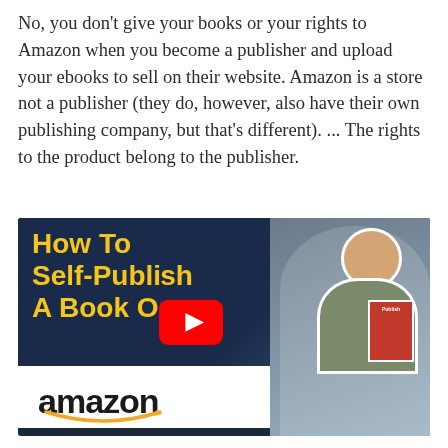No, you don't give your books or your rights to Amazon when you become a publisher and upload your ebooks to sell on their website. Amazon is a store not a publisher (they do, however, also have their own publishing company, but that's different). ... The rights to the product belong to the publisher.
[Figure (screenshot): YouTube video thumbnail for 'How To Self-Publish A Book On Amazon' showing bold yellow text on dark blue background, a YouTube play button, a smiling man holding a book titled 'Publish', and the Amazon logo with smile arrow at the bottom.]